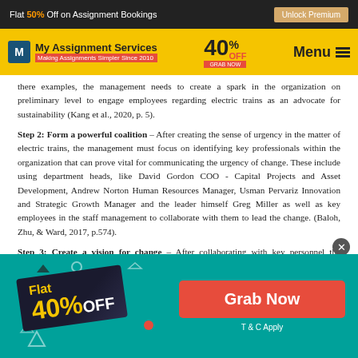Flat 50% Off on Assignment Bookings — Unlock Premium
[Figure (logo): My Assignment Services logo with 40% OFF promo and Menu button on yellow header bar]
there examples, the management needs to create a spark in the organization on preliminary level to engage employees regarding electric trains as an advocate for sustainability (Kang et al., 2020, p. 5).
Step 2: Form a powerful coalition – After creating the sense of urgency in the matter of electric trains, the management must focus on identifying key professionals within the organization that can prove vital for communicating the urgency of change. These include using department heads, like David Gordon COO - Capital Projects and Asset Development, Andrew Norton Human Resources Manager, Usman Pervariz Innovation and Strategic Growth Manager and the leader himself Greg Miller as well as key employees in the staff management to collaborate with them to lead the change. (Baloh, Zhu, & Ward, 2017, p.574).
Step 3: Create a vision for change – After collaborating with key personnel the management must focus on creating a strong vision to focus on the implementation of needed change. This includes use of strategic plans to fool-proof any potential loopholes within the
[Figure (infographic): Bottom promotional banner: teal background with Flat 40% OFF badge in dark diagonal tag on left, Grab Now red button on right, T & C Apply text below]